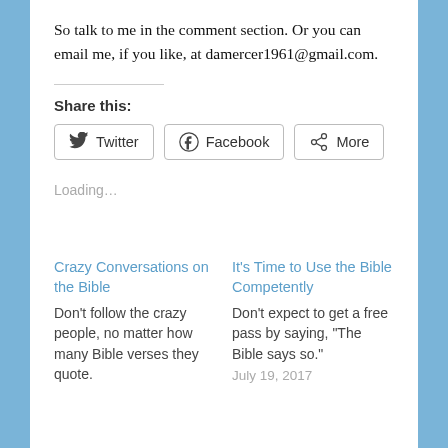So talk to me in the comment section. Or you can email me, if you like, at damercer1961@gmail.com.
Share this:
[Figure (screenshot): Share buttons row: Twitter, Facebook, More]
Loading…
Crazy Conversations on the Bible
Don't follow the crazy people, no matter how many Bible verses they quote.
It's Time to Use the Bible Competently
Don't expect to get a free pass by saying, "The Bible says so."
July 19, 2017